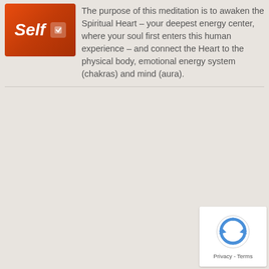[Figure (illustration): Orange/red rounded rectangle button with italic white text 'Self' and a small white icon on the right side]
The purpose of this meditation is to awaken the Spiritual Heart – your deepest energy center, where your soul first enters this human experience – and connect the Heart to the physical body, emotional energy system (chakras) and mind (aura).
[Figure (other): reCAPTCHA widget showing the recaptcha icon with 'Privacy - Terms' text below]